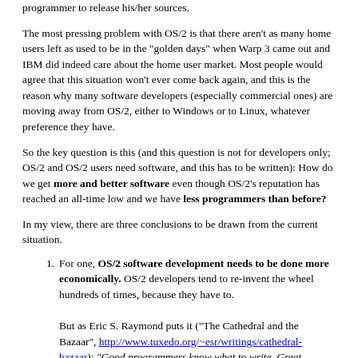programmer to release his/her sources.
The most pressing problem with OS/2 is that there aren't as many home users left as used to be in the "golden days" when Warp 3 came out and IBM did indeed care about the home user market. Most people would agree that this situation won't ever come back again, and this is the reason why many software developers (especially commercial ones) are moving away from OS/2, either to Windows or to Linux, whatever preference they have.
So the key question is this (and this question is not for developers only; OS/2 and OS/2 users need software, and this has to be written): How do we get more and better software even though OS/2's reputation has reached an all-time low and we have less programmers than before?
In my view, there are three conclusions to be drawn from the current situation.
For one, OS/2 software development needs to be done more economically. OS/2 developers tend to re-invent the wheel hundreds of times, because they have to.
But as Eric S. Raymond puts it ("The Cathedral and the Bazaar", http://www.tuxedo.org/~esr/writings/cathedral-bazaar): "Good programmers know what to write. Great